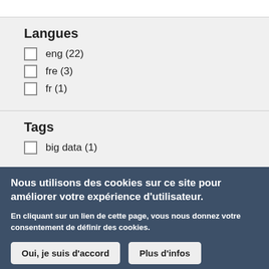Langues
eng (22)
fre (3)
fr (1)
Tags
big data (1)
Nous utilisons des cookies sur ce site pour améliorer votre expérience d'utilisateur.
En cliquant sur un lien de cette page, vous nous donnez votre consentement de définir des cookies.
Oui, je suis d'accord
Plus d'infos
in  🐦  f